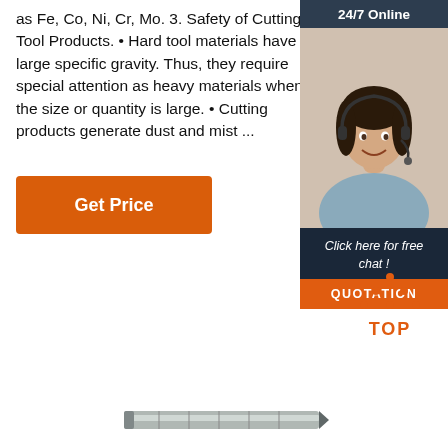as Fe, Co, Ni, Cr, Mo. 3. Safety of Cutting Tool Products. • Hard tool materials have a large specific gravity. Thus, they require special attention as heavy materials when the size or quantity is large. • Cutting products generate dust and mist ...
[Figure (other): Orange 'Get Price' button]
[Figure (photo): 24/7 Online customer service representative with headset, sidebar with 'Click here for free chat!' and 'QUOTATION' button]
[Figure (other): Orange dotted triangle 'TOP' icon for scrolling to top of page]
[Figure (other): Partial image of a cutting tool product at the bottom of the page]